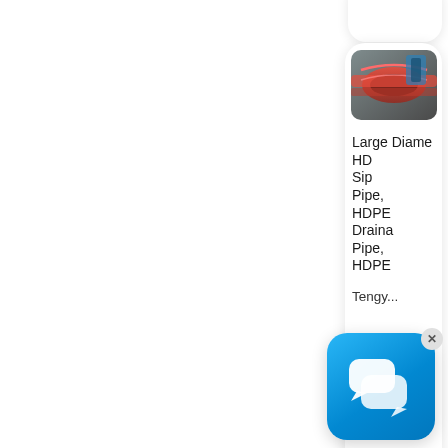[Figure (screenshot): Mobile product listing card showing HDPE pipe product with red pipe image thumbnail, product title text 'Large Diameter HDPE Siphon Pipe, HDPE Drainage Pipe, HDPE', seller name 'Tengy...' partially visible. Overlaid with a chat bubble icon (blue rounded square with speech bubbles) with an X close button, and a red scroll-to-top button with double chevron up arrows.]